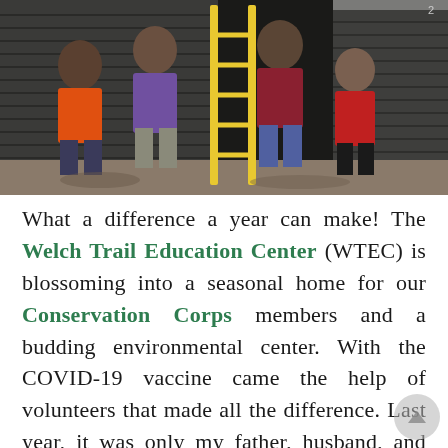[Figure (photo): Four people standing in front of a dark wooden building with a yellow ladder leaning against the building between them. One person wears an orange shirt, another a purple shirt, another a maroon shirt, and another a red jacket. The setting appears to be outdoors on gravel/dirt ground.]
What a difference a year can make! The Welch Trail Education Center (WTEC) is blossoming into a seasonal home for our Conservation Corps members and a budding environmental center. With the COVID-19 vaccine came the help of volunteers that made all the difference. Last year, it was only my father, husband, and two sons pitching in. This year, it was them